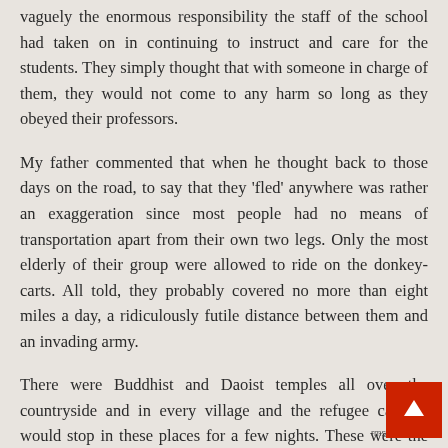vaguely the enormous responsibility the staff of the school had taken on in continuing to instruct and care for the students. They simply thought that with someone in charge of them, they would not come to any harm so long as they obeyed their professors.
My father commented that when he thought back to those days on the road, to say that they 'fled' anywhere was rather an exaggeration since most people had no means of transportation apart from their own two legs. Only the most elderly of their group were allowed to ride on the donkey-carts. All told, they probably covered no more than eight miles a day, a ridiculously futile distance between them and an invading army.
There were Buddhist and Daoist temples all over the countryside and in every village and the refugee campus would stop in these places for a few nights. These were the most suitable accommodations, since temple hall-